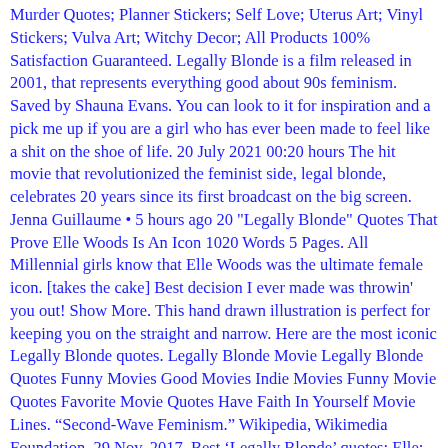Murder Quotes; Planner Stickers; Self Love; Uterus Art; Vinyl Stickers; Vulva Art; Witchy Decor; All Products 100% Satisfaction Guaranteed. Legally Blonde is a film released in 2001, that represents everything good about 90s feminism. Saved by Shauna Evans. You can look to it for inspiration and a pick me up if you are a girl who has ever been made to feel like a shit on the shoe of life. 20 July 2021 00:20 hours The hit movie that revolutionized the feminist side, legal blonde, celebrates 20 years since its first broadcast on the big screen. Jenna Guillaume • 5 hours ago 20 "Legally Blonde" Quotes That Prove Elle Woods Is An Icon 1020 Words 5 Pages. All Millennial girls know that Elle Woods was the ultimate female icon. [takes the cake] Best decision I ever made was throwin' you out! Show More. This hand drawn illustration is perfect for keeping you on the straight and narrow. Here are the most iconic Legally Blonde quotes. Legally Blonde Movie Legally Blonde Quotes Funny Movies Good Movies Indie Movies Funny Movie Quotes Favorite Movie Quotes Have Faith In Yourself Movie Lines. “Second-Wave Feminism.” Wikipedia, Wikimedia Foundation, 29 Nov. 2017. Best ‘Legally Blonde’ quotes: Elle: “I don’t need [backup colleges]. Legally Blonde Turns 20 -- See What the Cast Looks Like Now! Menu. 30. But, if you put us on a leash, we'll gnaw it off and go even more crazy once we're free. Tags: hard, its, legally-blonde-quotes, what-like-its-hard, legally-blonde-movie Back to Design. Quotes . Best Legally Blonde Quotes. If you give us an inch, we'll take a mile. - Elle Woods “It would be a Revolution. 5 out of 5 on It by Elle Evans A...